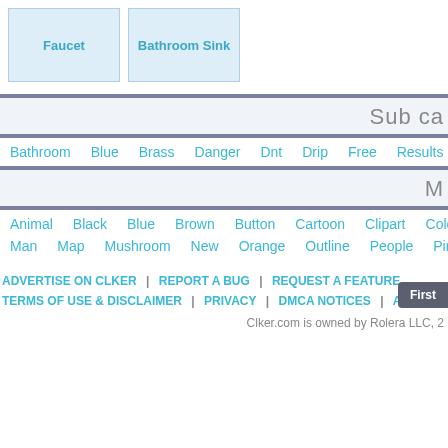[Figure (other): Two category cards: Faucet and Bathroom Sink]
First
Sub ca
Bathroom  Blue  Brass  Danger  Dnt  Drip  Free  Results  Sink
M
Animal  Black  Blue  Brown  Button  Cartoon  Clipart  Color  Diet  Man  Map  Mushroom  New  Orange  Outline  People  Pink  Purp
ADVERTISE ON CLKER | REPORT A BUG | REQUEST A FEATURE  TERMS OF USE & DISCLAIMER | PRIVACY | DMCA NOTICES | A  Clker.com is owned by Rolera LLC, 2